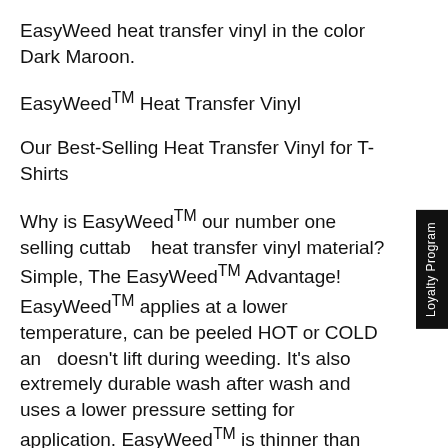EasyWeed heat transfer vinyl in the color Dark Maroon.
EasyWeed™ Heat Transfer Vinyl
Our Best-Selling Heat Transfer Vinyl for T-Shirts
Why is EasyWeed™ our number one selling cuttable heat transfer vinyl material? Simple, The EasyWeed™ Advantage! EasyWeed™ applies at a lower temperature, can be peeled HOT or COLD and doesn't lift during weeding. It's also extremely durable wash after wash and uses a lower pressure setting for application. EasyWeed™ is thinner than our competitor's material and offers a one-step application that's great for multiple layers. EasyWeed's pressure-sensitive carrier allows you to offer detailed designs on a variety of fabrics.
EasyWeed™ is CPSIA Certified, so it's perfect for